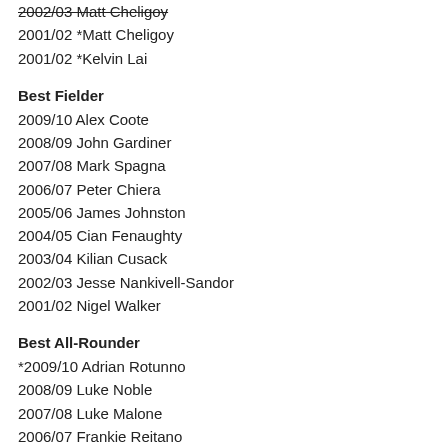2002/03 Matt Cheligoy
2001/02 *Matt Cheligoy
2001/02 *Kelvin Lai
Best Fielder
2009/10 Alex Coote
2008/09 John Gardiner
2007/08 Mark Spagna
2006/07 Peter Chiera
2005/06 James Johnston
2004/05 Cian Fenaughty
2003/04 Kilian Cusack
2002/03 Jesse Nankivell-Sandor
2001/02 Nigel Walker
Best All-Rounder
*2009/10 Adrian Rotunno
2008/09 Luke Noble
2007/08 Luke Malone
2006/07 Frankie Reitano
#2005/06 Sam Coventry-Poole
#2004/05 Brendan White
2003/04 Sean Sturrack